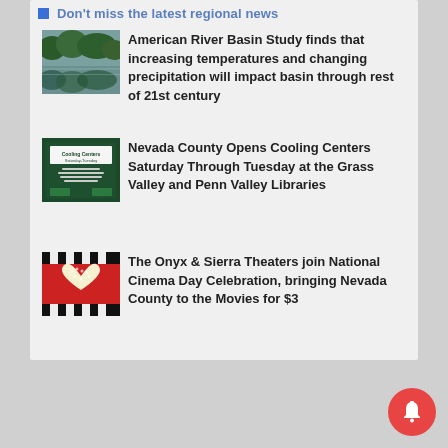Don't miss the latest regional news
[Figure (photo): River or lake landscape with trees reflecting in still water]
American River Basin Study finds that increasing temperatures and changing precipitation will impact basin through rest of 21st century
[Figure (photo): Cooling Centers Saturday-Tuesday flyer for Grass Valley Library and Penn Valley Library]
Nevada County Opens Cooling Centers Saturday Through Tuesday at the Grass Valley and Penn Valley Libraries
[Figure (photo): Heart shape made of popcorn on red background with movie clapperboard]
The Onyx & Sierra Theaters join National Cinema Day Celebration, bringing Nevada County to the Movies for $3